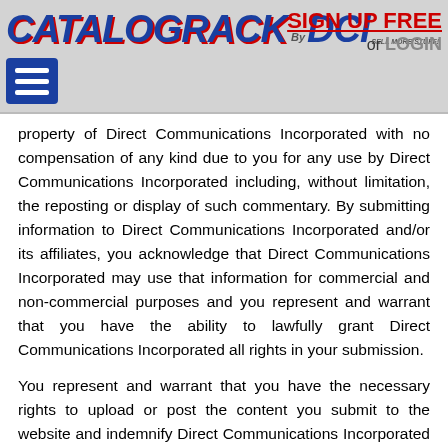[Figure (logo): CatalogRack by DCI logo with blue italic bold text and red accent]
SIGN UP FREE or LOGIN
property of Direct Communications Incorporated with no compensation of any kind due to you for any use by Direct Communications Incorporated including, without limitation, the reposting or display of such commentary. By submitting information to Direct Communications Incorporated and/or its affiliates, you acknowledge that Direct Communications Incorporated may use that information for commercial and non-commercial purposes and you represent and warrant that you have the ability to lawfully grant Direct Communications Incorporated all rights in your submission.
You represent and warrant that you have the necessary rights to upload or post the content you submit to the website and indemnify Direct Communications Incorporated and its agents